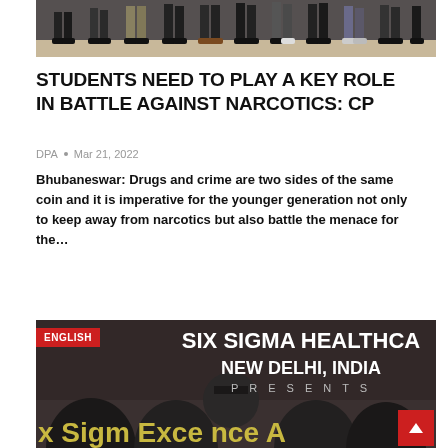[Figure (photo): Group photo showing legs and feet of people standing in a row on a wooden floor]
STUDENTS NEED TO PLAY A KEY ROLE IN BATTLE AGAINST NARCOTICS: CP
DPA • Mar 21, 2022
Bhubaneswar: Drugs and crime are two sides of the same coin and it is imperative for the younger generation not only to keep away from narcotics but also battle the menace for the…
READ MORE...
[Figure (photo): Event photo for Six Sigma Healthcare New Delhi India presenting Six Sigma Excellence Awards, with ENGLISH badge overlay and group of people visible at bottom]